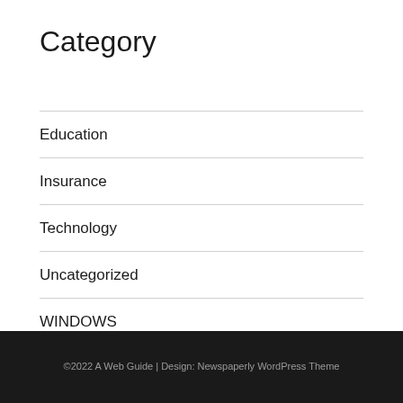Category
Education
Insurance
Technology
Uncategorized
WINDOWS
©2022 A Web Guide | Design: Newspaperly WordPress Theme